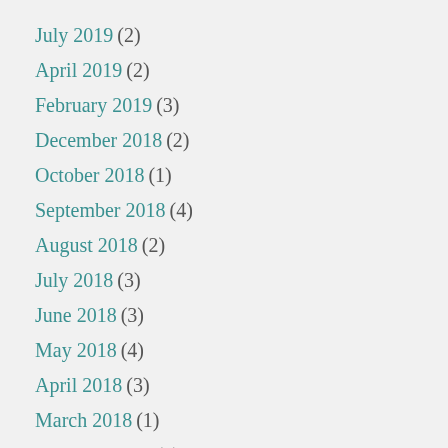July 2019 (2)
April 2019 (2)
February 2019 (3)
December 2018 (2)
October 2018 (1)
September 2018 (4)
August 2018 (2)
July 2018 (3)
June 2018 (3)
May 2018 (4)
April 2018 (3)
March 2018 (1)
February 2018 (6)
January 2018 (2)